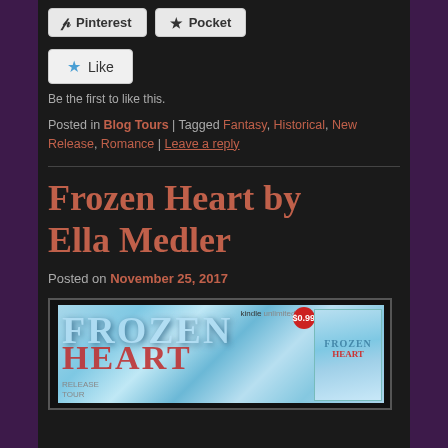Pinterest  Pocket
Like
Be the first to like this.
Posted in Blog Tours | Tagged Fantasy, Historical, New Release, Romance | Leave a reply
Frozen Heart by Ella Medler
Posted on November 25, 2017
[Figure (photo): Book cover banner for 'Frozen Heart' by Ella Medler showing the title in icy blue letters with red heart text, a Kindle Unlimited badge, $0.99 price badge, a Release Tour stamp, and a small secondary book cover image on the right showing a young woman.]